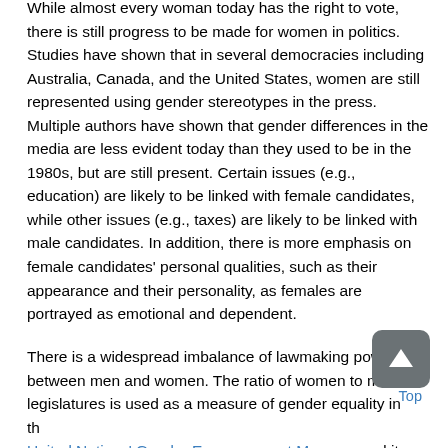While almost every woman today has the right to vote, there is still progress to be made for women in politics. Studies have shown that in several democracies including Australia, Canada, and the United States, women are still represented using gender stereotypes in the press. Multiple authors have shown that gender differences in the media are less evident today than they used to be in the 1980s, but are still present. Certain issues (e.g., education) are likely to be linked with female candidates, while other issues (e.g., taxes) are likely to be linked with male candidates. In addition, there is more emphasis on female candidates' personal qualities, such as their appearance and their personality, as females are portrayed as emotional and dependent.
There is a widespread imbalance of lawmaking power between men and women. The ratio of women to men in legislatures is used as a measure of gender equality in the United Nations' Gender Empowerment Measure and its newer incarnation the Gender Inequality Index. Speaking about China, Lanyan Chen stated that, since men more than